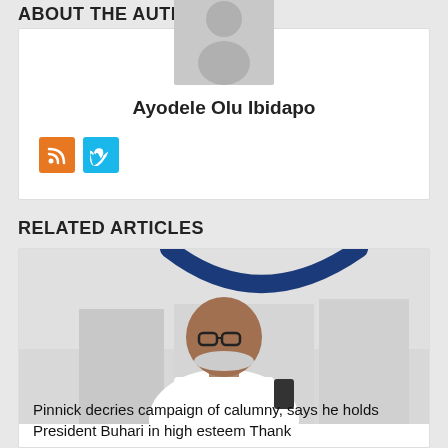ABOUT THE AUTHOR
[Figure (photo): Author avatar placeholder silhouette on gray background]
Ayodele Olu Ibidapo
[Figure (other): Social media icons: RSS (orange) and Vimeo (blue)]
RELATED ARTICLES
[Figure (photo): Photo of Pinnick, a man with glasses and white beard wearing white attire]
Pinnick decries campaign of calumny, says he holds President Buhari in high esteem Thank